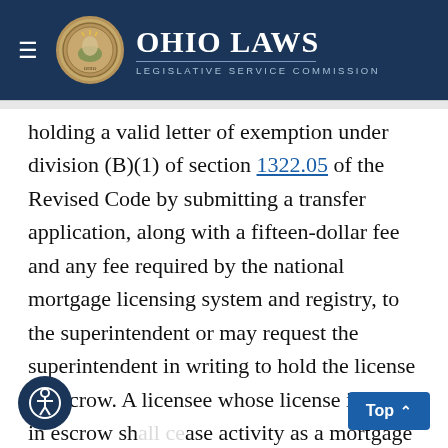Ohio Laws — Legislative Service Commission
holding a valid letter of exemption under division (B)(1) of section 1322.05 of the Revised Code by submitting a transfer application, along with a fifteen-dollar fee and any fee required by the national mortgage licensing system and registry, to the superintendent or may request the superintendent in writing to hold the license in escrow. A licensee whose license is held in escrow shall cease activity as a mortgage loan originator. A licensee whose license is held in escrow shall